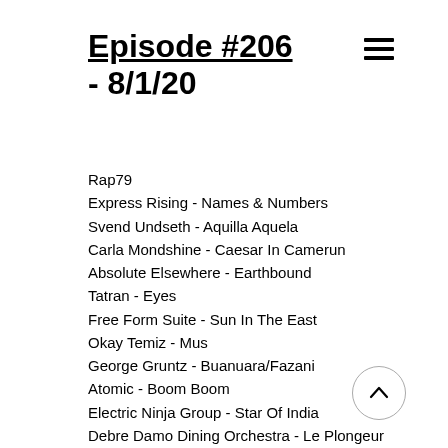Episode #206 - 8/1/20
Rap79
Express Rising - Names & Numbers
Svend Undseth - Aquilla Aquela
Carla Mondshine - Caesar In Camerun
Absolute Elsewhere - Earthbound
Tatran - Eyes
Free Form Suite - Sun In The East
Okay Temiz - Mus
George Gruntz - Buanuara/Fazani
Atomic - Boom Boom
Electric Ninja Group - Star Of India
Debre Damo Dining Orchestra - Le Plongeur
The Heliocentrics - The Uncertainty Principle
Marjano & His Boys - Es Lilin
China Nights - Unknown
Le Super Biton National De Segou